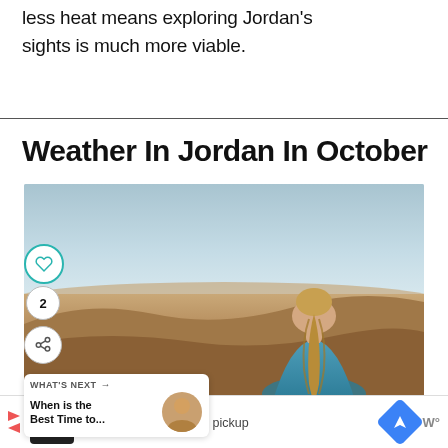less heat means exploring Jordan's sights is much more viable.
Weather In Jordan In October
[Figure (photo): Woman with blonde braided hair wearing a blue jacket, viewed from behind, looking out over a desert landscape in Jordan. Social sharing buttons (heart, count 2, share) are overlaid on the left side. A 'What's Next' card shows 'When is the Best Time to...' with a thumbnail.]
[Figure (other): Advertisement bar at bottom showing a restaurant/food icon, Dine-in and Curbside pickup checkmarks, a navigation icon, and weather indicator.]